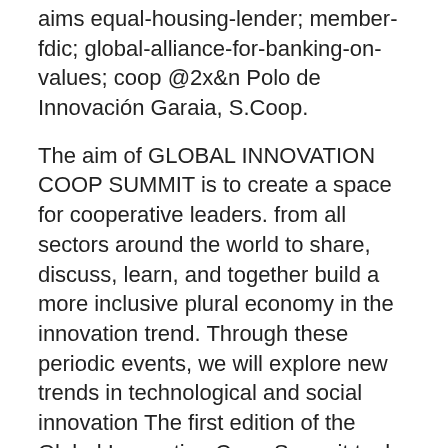aims equal-housing-lender; member-fdic; global-alliance-for-banking-on-values; coop @2x&n Polo de Innovación Garaia, S.Coop.
The aim of GLOBAL INNOVATION COOP SUMMIT is to create a space for cooperative leaders. from all sectors around the world to share, discuss, learn, and together build a more inclusive plural economy in the innovation trend. Through these periodic events, we will explore new trends in technological and social innovation The first edition of the Global Innovation Coop Summit took place on December 30th, 2020, and was completely digital and free. Bsk 99
how long is metal gear solid 2
hudterapeut stockholm